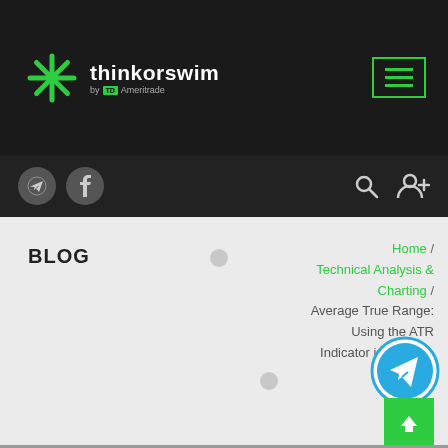thinkorswim by TD Ameritrade
[Figure (screenshot): Navigation bar with thinkorswim logo on left and hamburger menu icon (3 horizontal lines in green border) on right, dark background]
[Figure (screenshot): Sub-navigation bar with Telegram and Facebook social icons on left, search and add-user icons on right, dark background]
BLOG
Home / Technical Analysis & Charting / Average True Range: Using the ATR Indicator in Your Trading Exit Strategy
[Figure (screenshot): Telegram floating action button (blue circle with paper plane icon)]
[Figure (screenshot): Green scroll-to-top button with upward arrow]